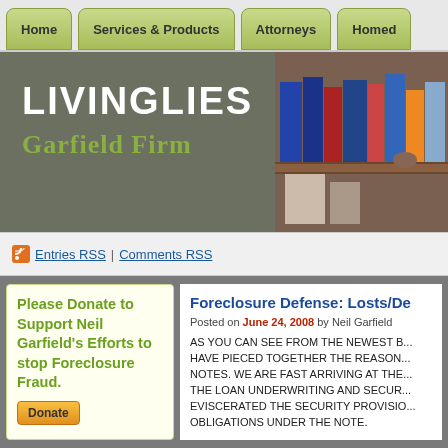Home | Services & Products | Attorneys | Homed...
[Figure (screenshot): Livinglies Garfield Firm website header banner with law firm name over gray background and bookshelf photo]
Entries RSS | Comments RSS
Please Donate to Support Neil Garfield's Efforts to stop Foreclosure Fraud.
Foreclosure Defense: Losts/De...
Posted on June 24, 2008 by Neil Garfield
AS YOU CAN SEE FROM THE NEWEST B... HAVE PIECED TOGETHER THE REASON... NOTES. WE ARE FAST ARRIVING AT THE... THE LOAN UNDERWRITING AND SECUR... EVISCERATED THE SECURITY PROVISIO... OBLIGATIONS UNDER THE NOTE.